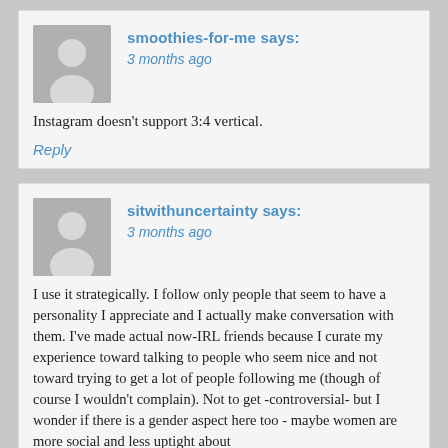smoothies-for-me says: 3 months ago
Instagram doesn't support 3:4 vertical.
Reply
sitwithuncertainty says: 3 months ago
I use it strategically. I follow only people that seem to have a personality I appreciate and I actually make conversation with them. I've made actual now-IRL friends because I curate my experience toward talking to people who seem nice and not toward trying to get a lot of people following me (though of course I wouldn't complain). Not to get -controversial- but I wonder if there is a gender aspect here too - maybe women are more social and less uptight about...